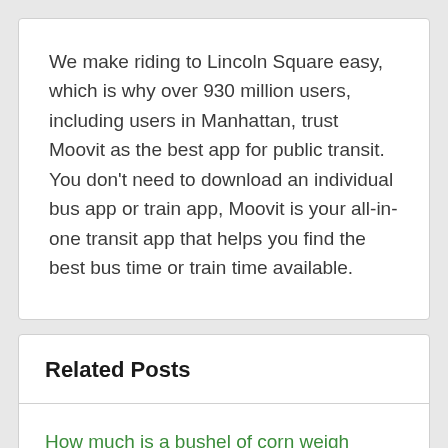We make riding to Lincoln Square easy, which is why over 930 million users, including users in Manhattan, trust Moovit as the best app for public transit. You don't need to download an individual bus app or train app, Moovit is your all-in-one transit app that helps you find the best bus time or train time available.
Related Posts
How much is a bushel of corn weigh
2004 ford taurus serpentine belt without ac
What colors do i mix to make orange
How many calories in mcdonalds french fries